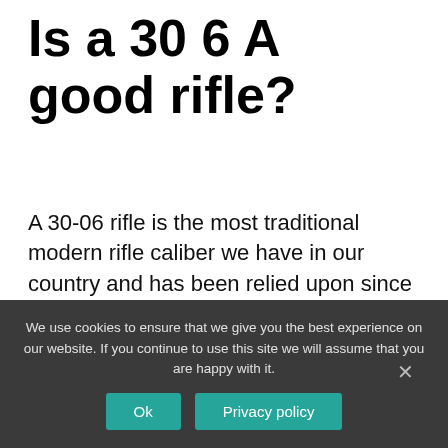Is a 30 6 A good rifle?
A 30-06 rifle is the most traditional modern rifle caliber we have in our country and has been relied upon since before both World Wars. Even after the . 308 cartridge replaced the 30-06 in 1970, the 30-06 has still been a very reliable round to use for hunting large game.
We use cookies to ensure that we give you the best experience on our website. If you continue to use this site we will assume that you are happy with it.